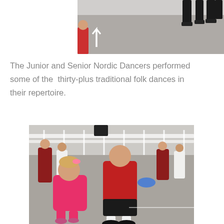[Figure (photo): Partial photo at top of page showing legs of dancers and a road surface with a white arrow marking, cropped at the top of the page.]
The Junior and Senior Nordic Dancers performed some of the  thirty-plus traditional folk dances in their repertoire.
[Figure (photo): Photo of Nordic folk dancers performing outdoors. In the foreground, a young girl in a bright pink dress and leggings dances with a taller person in a red long-sleeve shirt and dark shorts with white socks. In the background, more dancers in traditional Nordic costumes are visible, along with spectators seated on the ground near a white fence.]